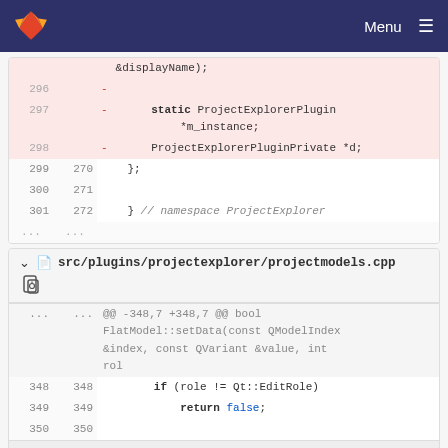[Figure (screenshot): GitLab navigation bar with logo and Menu button]
&displayName);
296  -
297  -      static ProjectExplorerPlugin *m_instance;
298  -      ProjectExplorerPluginPrivate *d;
299  270  };
300  271
301  272  } // namespace ProjectExplorer
...  ...
src/plugins/projectexplorer/projectmodels.cpp
@@ -348,7 +348,7 @@ bool FlatModel::setData(const QModelIndex &index, const QVariant &value, int rol
348  348      if (role != Qt::EditRole)
349  349          return false;
350  350